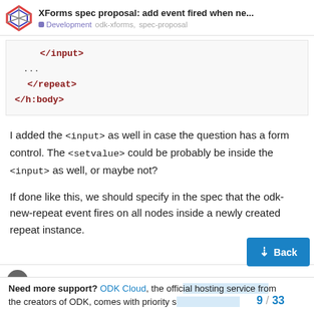XForms spec proposal: add event fired when ne... | Development odk-xforms, spec-proposal
</input>
    ...
</repeat>
</h:body>
I added the <input> as well in case the question has a form control. The <setvalue> could be probably be inside the <input> as well, or maybe not?
If done like this, we should specify in the spec that the odk-new-repeat event fires on all nodes inside a newly created repeat instance.
Need more support? ODK Cloud, the official hosting service from the creators of ODK, comes with priority s... 9 / 33